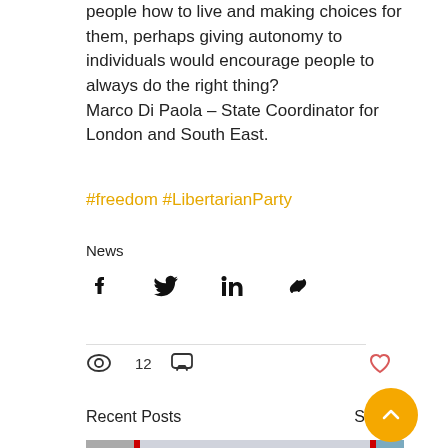people how to live and making choices for them, perhaps giving autonomy to individuals would encourage people to always do the right thing?
Marco Di Paola – State Coordinator for London and South East.
#freedom #LibertarianParty
News
[Figure (infographic): Social share icons: Facebook, Twitter, LinkedIn, Link]
12 views, 0 comments, heart/like button
Recent Posts
See All
[Figure (photo): Photo preview showing a sign reading YOU ARE BE... with a person in blue gloves visible to the right]